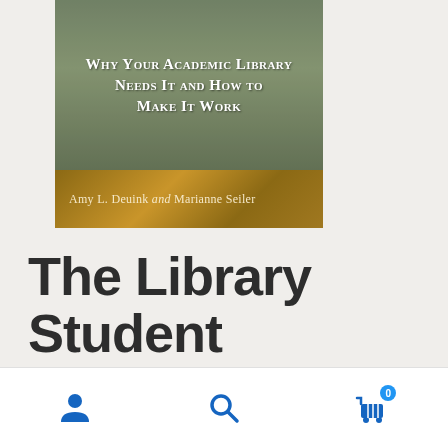[Figure (illustration): Book cover for 'The Library Student Advisory Board: Why Your Academic Library Needs It and How to Make It Work' by Amy L. Deuink and Marianne Seiler. Top portion shows a green/outdoor background with the book subtitle in white serif small-caps text. Bottom portion has a golden-brown banner with the authors' names.]
The Library Student Advisory Board
Why Your Academic Library Needs It and How to Make It Work
[Figure (infographic): Bottom navigation bar with three icons: a user/person icon (blue), a search magnifying glass icon (blue), and a shopping cart icon (blue) with a badge showing '0'.]